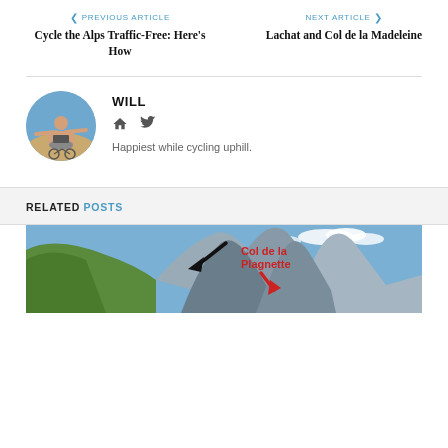< PREVIOUS ARTICLE   NEXT ARTICLE >
Cycle the Alps Traffic-Free: Here's How
Lachat and Col de la Madeleine
WILL
Happiest while cycling uphill.
RELATED POSTS
[Figure (photo): Mountain landscape photo showing Col de la Plagnette with a black arrow and red arrow annotation pointing to mountain peaks, green hillside on left, rocky peaks in center and right, blue sky with clouds.]